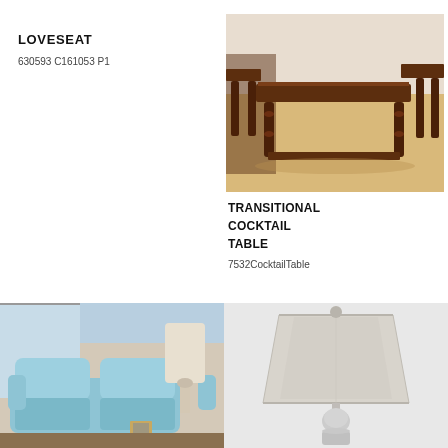LOVESEAT
630593 C161053 P1
[Figure (photo): Dark wood transitional cocktail table set with lower shelf, shown on light wood floor]
TRANSITIONAL COCKTAIL TABLE
7532CocktailTable
[Figure (photo): Light blue upholstered loveseat with white lamp and coastal room setting]
[Figure (photo): Table lamp with white rectangular shade and spherical base, brushed nickel finish]